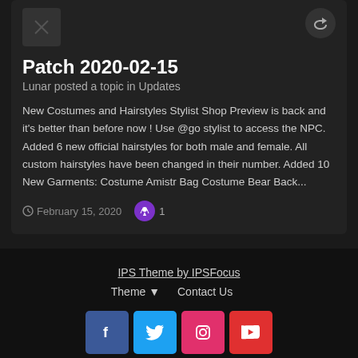Patch 2020-02-15
Lunar posted a topic in Updates
New Costumes and Hairstyles Stylist Shop Preview is back and it's better than before now ! Use @go stylist to access the NPC. Added 6 new official hairstyles for both male and female. All custom hairstyles have been changed in their number. Added 10 New Garments: Costume Amistr Bag Costume Bear Back...
February 15, 2020   1
IPS Theme by IPSFocus
Theme ▼   Contact Us
Copyright - Shining Moon 2017